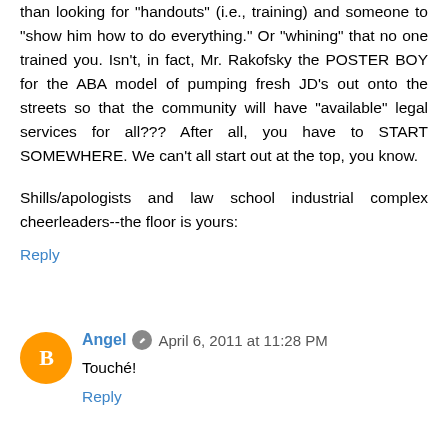than looking for "handouts" (i.e., training) and someone to "show him how to do everything." Or "whining" that no one trained you. Isn't, in fact, Mr. Rakofsky the POSTER BOY for the ABA model of pumping fresh JD's out onto the streets so that the community will have "available" legal services for all??? After all, you have to START SOMEWHERE. We can't all start out at the top, you know.
Shills/apologists and law school industrial complex cheerleaders--the floor is yours:
Reply
Angel   April 6, 2011 at 11:28 PM
Touché!
Reply
Angel   April 6, 2011 at 11:33 PM
For what it's worth, I do think that the poor kid thought he scored the case of a lifetime. I know 40 y.o. criminal